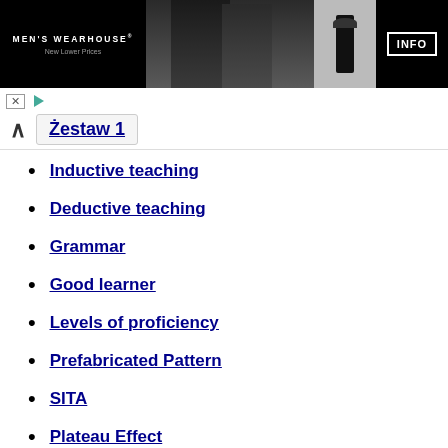[Figure (photo): Men's Wearhouse advertisement banner showing a couple in formal wear and a man in a tuxedo, with INFO button]
Zestaw 1
Inductive teaching
Deductive teaching
Grammar
Good learner
Levels of proficiency
Prefabricated Pattern
SITA
Plateau Effect